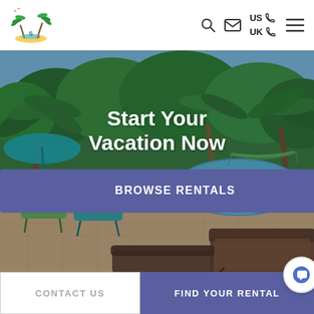[Figure (logo): Tropical vacation rental company logo with palm trees and beach scene]
US UK [phone icons] [search] [email] [menu]
[Figure (photo): Outdoor pool area with tropical palm trees, green lounge chairs, and a hammock in the background]
Start Your Vacation Now
BROWSE RENTALS
CONTACT US
FIND YOUR RENTAL